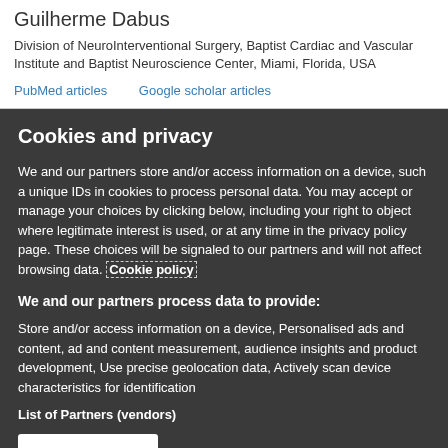Guilherme Dabus
Division of NeuroInterventional Surgery, Baptist Cardiac and Vascular Institute and Baptist Neuroscience Center, Miami, Florida, USA
PubMed articles    Google scholar articles
Cookies and privacy
We and our partners store and/or access information on a device, such a unique IDs in cookies to process personal data. You may accept or manage your choices by clicking below, including your right to object where legitimate interest is used, or at any time in the privacy policy page. These choices will be signaled to our partners and will not affect browsing data. Cookie policy
We and our partners process data to provide:
Store and/or access information on a device, Personalised ads and content, ad and content measurement, audience insights and product development, Use precise geolocation data, Actively scan device characteristics for identification
List of Partners (vendors)